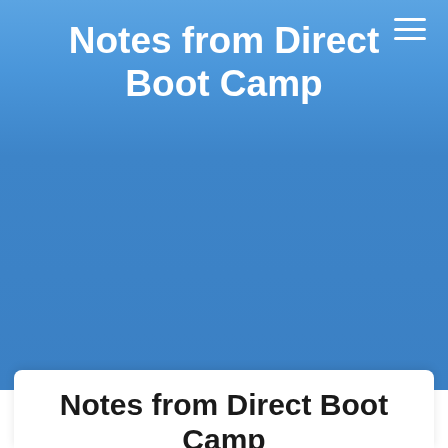Notes from Direct Boot Camp
Notes from Direct Boot Camp
Vaibhav Bhandari  Thu Nov 28 21:09:38 2013
DirectProject, HealthIT
On Aug 13-14 2013, ONC hosted the second Direct boot camp. For me this was a great venue to connect with partners, customers, team members